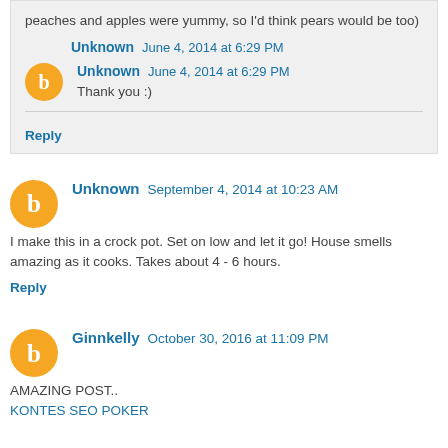peaches and apples were yummy, so I'd think pears would be too)
Unknown June 4, 2014 at 6:29 PM
Thank you :)
Reply
Unknown September 4, 2014 at 10:23 AM
I make this in a crock pot. Set on low and let it go! House smells amazing as it cooks. Takes about 4 - 6 hours.
Reply
Ginnkelly October 30, 2016 at 11:09 PM
AMAZING POST..
KONTES SEO POKER